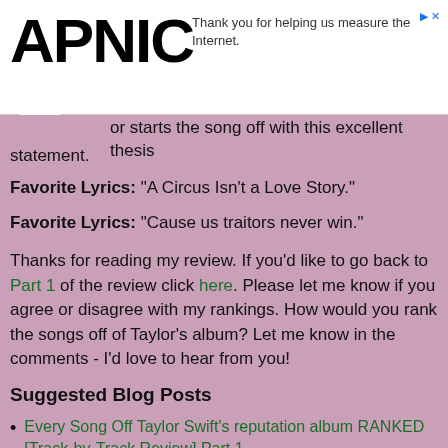APNIC — Thank you for helping us measure the Internet.
or starts the song off with this excellent thesis statement.
Favorite Lyrics: "A Circus Isn't a Love Story."
Favorite Lyrics: "Cause us traitors never win."
Thanks for reading my review. If you'd like to go back to Part 1 of the review click here. Please let me know if you agree or disagree with my rankings. How would you rank the songs off of Taylor's album? Let me know in the comments - I'd love to hear from you!
Suggested Blog Posts
Every Song Off Taylor Swift's reputation album RANKED [Track-by-Track Review] Part 1
Every Song Off Kacey Musgraves's Album Golden Hour RANKED [Track-by-Track Review]